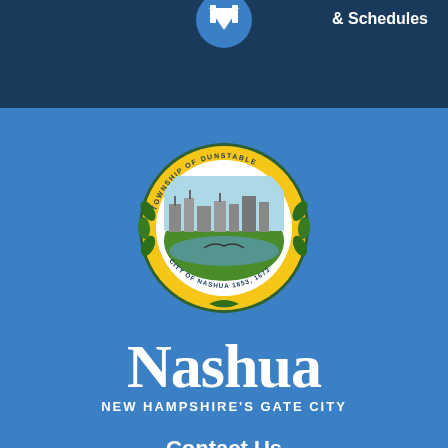& Schedules
[Figure (logo): City of Nashua official seal — circular seal with wreath, text 'TOWNSHIP OF DUNSTABLE' at top, 'CITY OF NASHUA 1853, 1673' at bottom, with landscape scene in center]
Nashua
NEW HAMPSHIRE'S GATE CITY
Contact Us
229 Main Street